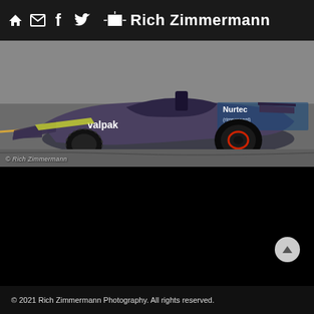Rich Zimmermann
[Figure (photo): An IndyCar racing car with purple/dark livery and 'Valpak' sponsor logo on track, partially overturned or at extreme angle. Sponsor branding 'Nurtec (rimegepant)' visible on side. Photo credited to Rich Zimmermann.]
© Rich Zimmermann
© 2021 Rich Zimmermann Photography. All rights reserved.